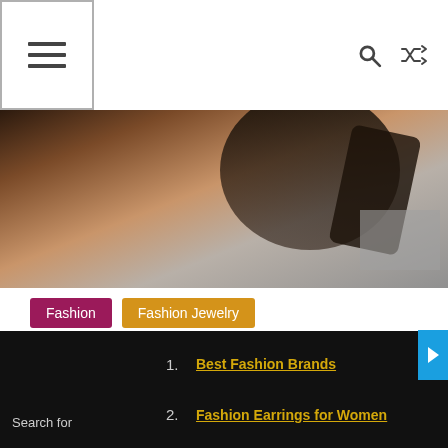Navigation bar with hamburger menu icon, search icon, and shuffle icon
[Figure (photo): Close-up photo of a person's neck/shoulder area, dark clothing visible, warm skin tones with dark and grey areas]
Fashion   Fashion Jewelry
August 16, 2018   hellofashiona   10,251 views
Top Deals You Can't Miss
BUY 3 GET 1 SALE FREE
Flash Sale: 12% Off
Extra 5% Off for New Sign Up
Free Shipping for Your Order
Search for
1. Best Fashion Brands
2. Fashion Earrings for Women